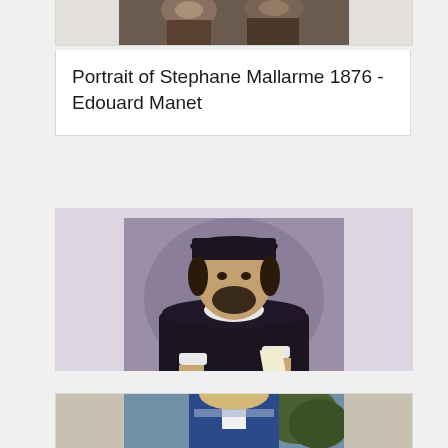[Figure (photo): Partial view of a painting showing two figures at the top of the page (cropped)]
Portrait of Stephane Mallarme 1876 - Edouard Manet
[Figure (photo): Portrait of a Man holding a Letter 1570-75 by Giovanni Battista Moroni — a bearded man in dark Renaissance clothing with white ruff collar, holding a letter]
Portrait of a Man holding a Letter 1570-75 - Giovanni Battista Moroni
[Figure (photo): Partial view of a portrait painting showing a figure in blue with white wig (cropped at bottom of page)]